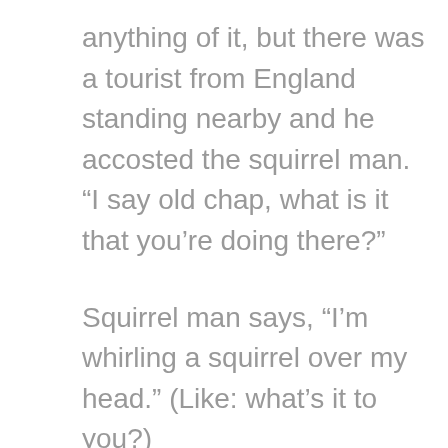anything of it, but there was a tourist from England standing nearby and he accosted the squirrel man. “I say old chap, what is it that you’re doing there?”
Squirrel man says, “I’m whirling a squirrel over my head.” (Like: what’s it to you?)
Englishman: “Yes, yes, I see that. I see that very plainly. But why are you twirling a squirrel